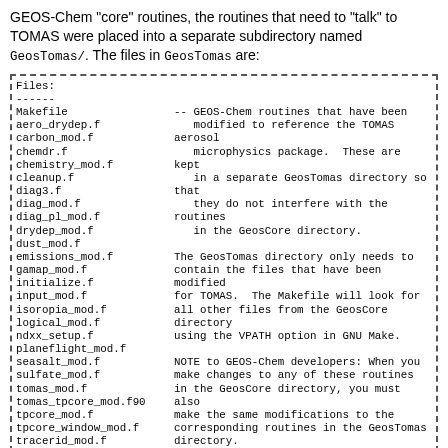GEOS-Chem "core" routines, the routines that need to "talk" to TOMAS were placed into a separate subdirectory named GeosTomas/. The files in GeosTomas are:
Files:
------
Makefile                -- GEOS-Chem routines that have been
aero_drydep.f              modified to reference the TOMAS aerosol
carbon_mod.f               microphysics package.  These are kept
chemdr.f                   in a separate GeosTomas directory so that
chemistry_mod.f            they do not interfere with the routines
cleanup.f                  in the GeosCore directory.
diag3.f
diag_mod.f              The GeosTomas directory only needs to
diag_pl_mod.f           contain the files that have been modified
drydep_mod.f            for TOMAS.  The Makefile will look for
dust_mod.f              all other files from the GeosCore directory
emissions_mod.f         using the VPATH option in GNU Make.
gamap_mod.f
initialize.f            NOTE to GEOS-Chem developers: When you
input_mod.f             make changes to any of these routines
isoropia_mod.f          in the GeosCore directory, you must also
logical_mod.f           make the same modifications to the
ndxx_setup.f            corresponding routines in the GeosTomas
planeflight_mod.f       directory.
seasalt_mod.f
sulfate_mod.f           Maybe in the near future we can work
tomas_mod.f             towards integrating TOMAS into the GeosCore
tomas_tpcore_mod.f90    directory more cleanly.  However, due to
tpcore_mod.f            the large number of modifications that were
tpcore_window_mod.f     necessary for TOMAS, it was quicker to
tracerid_mod.f          implement the TOMAS code in a separate
wetscav_mod.f           subdirectory.
xtra_read_mod.f              -- Bob Y. (1/25/10)